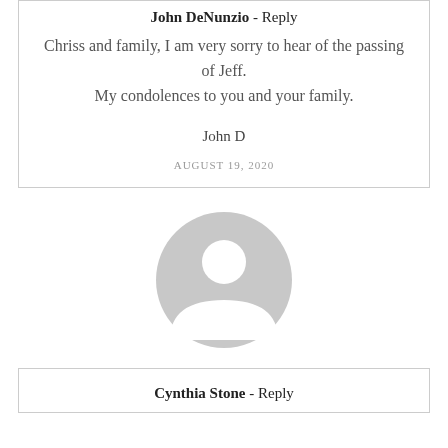John DeNunzio - Reply
Chriss and family, I am very sorry to hear of the passing of Jeff. My condolences to you and your family.
John D
AUGUST 19, 2020
[Figure (illustration): Generic user avatar placeholder icon in light gray]
Cynthia Stone - Reply